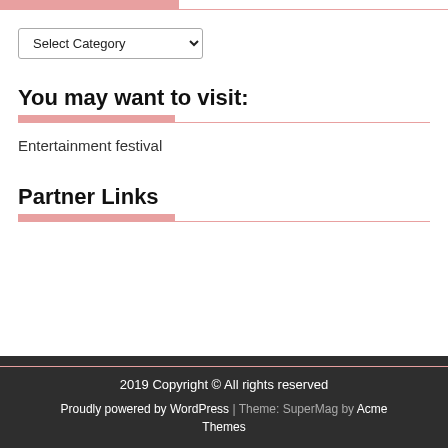[Figure (screenshot): Dropdown select element labeled 'Select Category' with a chevron/arrow on the right side]
You may want to visit:
Entertainment festival
Partner Links
2019 Copyright © All rights reserved
Proudly powered by WordPress | Theme: SuperMag by Acme Themes